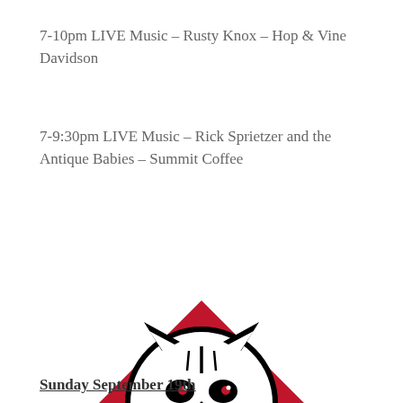7-10pm LIVE Music – Rusty Knox – Hop & Vine Davidson
7-9:30pm LIVE Music – Rick Sprietzer and the Antique Babies – Summit Coffee
[Figure (logo): Wildcat mascot logo: a snarling wildcat face in a circle, overlaid on a red diamond/rhombus shape, rendered in red, black, and white.]
Sunday September 19th